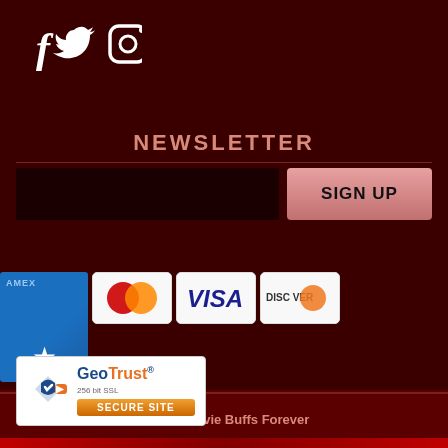[Figure (other): Social media icons: Facebook (f), Twitter (bird), Instagram (camera) in white on dark maroon background]
NEWSLETTER
[Figure (other): Email newsletter signup form with dark input field and pink SIGN UP button]
[Figure (other): Payment method icons: American Express (blue card with star), Mastercard (red/orange circles), Visa (blue text), Discover (orange circle)]
© 2022 Movie Buffs Forever
[Figure (other): GeoTrust 256-bit SSL Secure Site badge with logo and orange SECURE SITE button]